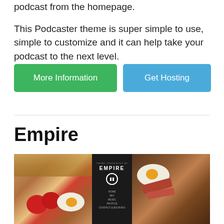podcast from the homepage.

This Podcaster theme is super simple to use, simple to customize and it can help take your podcast to the next level.
More Information
Get Hosting
Empire
[Figure (screenshot): Empire theme screenshot showing a podcast app mockup overlay on food photography background (tomatoes, eggs, bread, prosciutto). The center shows a dark smartphone screen with EMPIRE title and a pause button icon, surrounded by navigation menu items.]